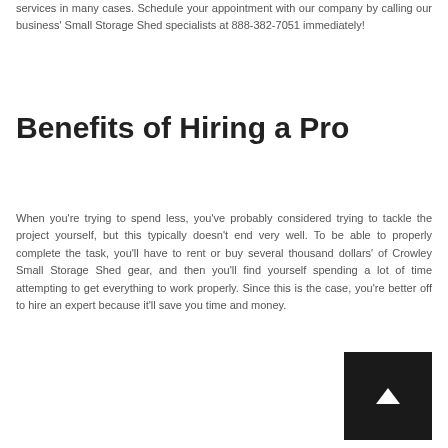services in many cases. Schedule your appointment with our company by calling our business' Small Storage Shed specialists at 888-382-7051 immediately!
Benefits of Hiring a Pro
When you're trying to spend less, you've probably considered trying to tackle the project yourself, but this typically doesn't end very well. To be able to properly complete the task, you'll have to rent or buy several thousand dollars' of Crowley Small Storage Shed gear, and then you'll find yourself spending a lot of time attempting to get everything to work properly. Since this is the case, you're better off to hire an expert because it'll save you time and money.